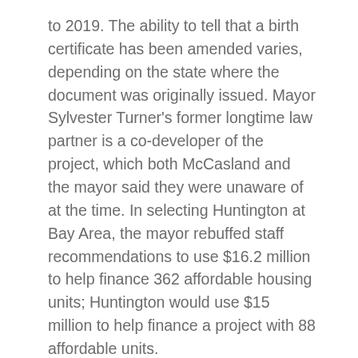to 2019. The ability to tell that a birth certificate has been amended varies, depending on the state where the document was originally issued. Mayor Sylvester Turner's former longtime law partner is a co-developer of the project, which both McCasland and the mayor said they were unaware of at the time. In selecting Huntington at Bay Area, the mayor rebuffed staff recommendations to use $16.2 million to help finance 362 affordable housing units; Huntington would use $15 million to help finance a project with 88 affordable units.
The event was held against the background of anxiety about protectionism and trade wars. If the multilateral trading system stalls, the fear is, the development aspirations of poorer and smaller countries will be scuppered. As the results documented in this 2018 Annual Report demonstrate, when we are faced with an increasingly fragmented trade and development landscape, we must maintain fidelity to our integrated